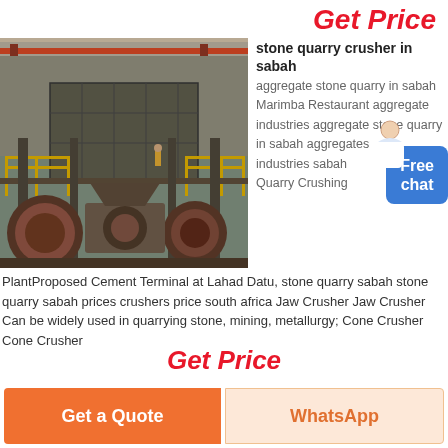Get Price
[Figure (photo): Industrial stone quarry crusher / cement plant machinery inside a large warehouse/factory. Heavy equipment with yellow railings, large metal crushing units, conveyor structures, and overhead crane visible. Workers on platforms.]
stone quarry crusher in sabah
aggregate stone quarry in sabah Marimba Restaurant aggregate industries aggregate stone quarry in sabah aggregates industries sabah Quarry Crushing
PlantProposed Cement Terminal at Lahad Datu, stone quarry sabah stone quarry sabah prices crushers price south africa Jaw Crusher Jaw Crusher Can be widely used in quarrying stone, mining, metallurgy; Cone Crusher Cone Crusher
Get Price
Get a Quote
WhatsApp